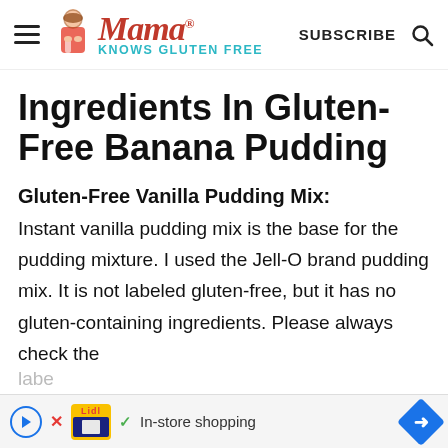Mama Knows Gluten Free — SUBSCRIBE
Ingredients In Gluten-Free Banana Pudding
Gluten-Free Vanilla Pudding Mix:
Instant vanilla pudding mix is the base for the pudding mixture. I used the Jell-O brand pudding mix. It is not labeled gluten-free, but it has no gluten-containing ingredients. Please always check the label
ingre